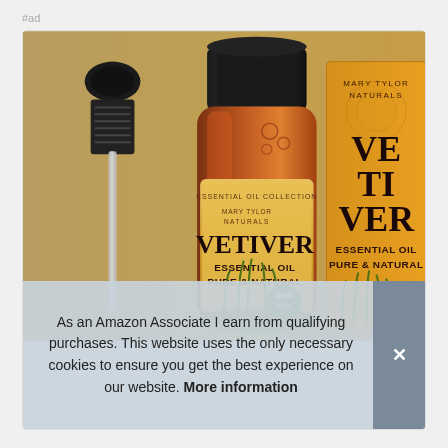#ad
[Figure (photo): Product photo of Mary Tylor Naturals Vetiver Essential Oil Pure & Natural amber bottle with dropper and orange product box]
As an Amazon Associate I earn from qualifying purchases. This website uses the only necessary cookies to ensure you get the best experience on our website. More information